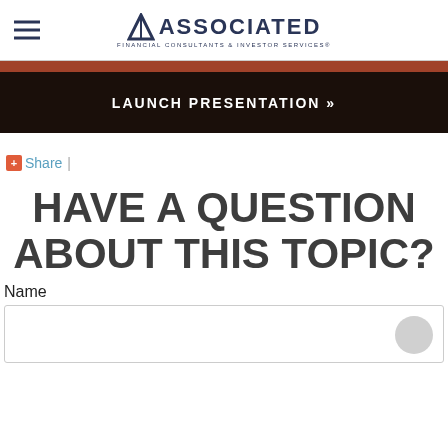Associated Financial Consultants & Investor Services
LAUNCH PRESENTATION »
+ Share |
HAVE A QUESTION ABOUT THIS TOPIC?
Name